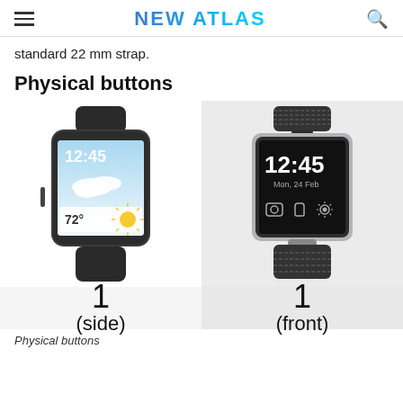NEW ATLAS
standard 22 mm strap.
Physical buttons
[Figure (illustration): Two smartwatches shown side by side for comparison. Left: Samsung Galaxy Gear with dark casing showing 12:45 time and 72° weather on screen. Right: Samsung Gear 2 with silver/gray casing showing 12:45, Mon 24 Feb, and app icons on screen.]
1 (side)
1 (front)
Physical buttons